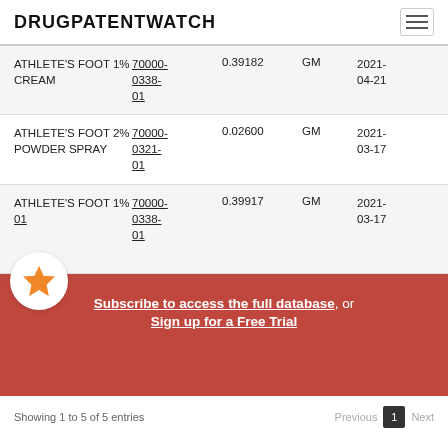DRUGPATENTWATCH
| Product | NDC | Qty | Unit | Date |
| --- | --- | --- | --- | --- |
| ATHLETE'S FOOT 1% CREAM | 70000-0338-01 | 0.39182 | GM | 2021-04-21 |
| ATHLETE'S FOOT 2% POWDER SPRAY | 70000-0321-01 | 0.02600 | GM | 2021-03-17 |
| ATHLETE'S FOOT 1% | 70000-0338-01 | 0.39917 | GM | 2021-03-17 |
Subscribe to access the full database, or Sign up for a Free Trial
Showing 1 to 5 of 5 entries    Previous  1  Next